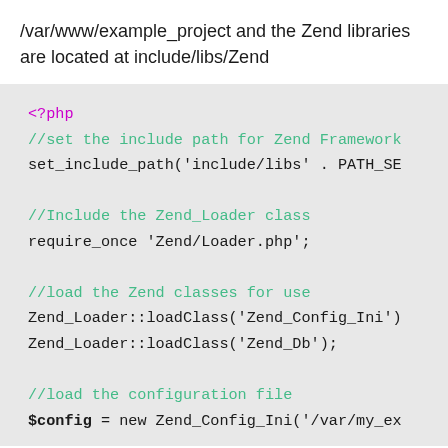/var/www/example_project and the Zend libraries are located at include/libs/Zend
<?php
//set the include path for Zend Framework
set_include_path('include/libs' . PATH_SE

//Include the Zend_Loader class
require_once 'Zend/Loader.php';

//load the Zend classes for use
Zend_Loader::loadClass('Zend_Config_Ini')
Zend_Loader::loadClass('Zend_Db');

//load the configuration file
$config = new Zend_Config_Ini('/var/my_ex